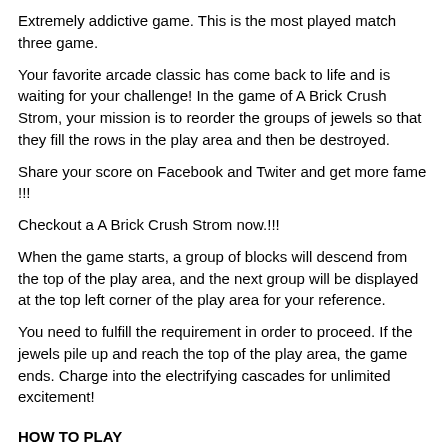Extremely addictive game. This is the most played match three game.
Your favorite arcade classic has come back to life and is waiting for your challenge! In the game of A Brick Crush Strom, your mission is to reorder the groups of jewels so that they fill the rows in the play area and then be destroyed.
Share your score on Facebook and Twiter and get more fame !!!
Checkout a A Brick Crush Strom now.!!!
When the game starts, a group of blocks will descend from the top of the play area, and the next group will be displayed at the top left corner of the play area for your reference.
You need to fulfill the requirement in order to proceed. If the jewels pile up and reach the top of the play area, the game ends. Charge into the electrifying cascades for unlimited excitement!
HOW TO PLAY
◻ Try to fit 3 or more jewels of the same fruit in a VERTICAL or